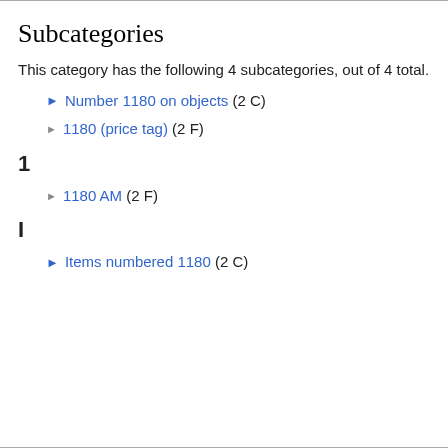Subcategories
This category has the following 4 subcategories, out of 4 total.
► Number 1180 on objects (2 C)
► 1180 (price tag) (2 F)
1
► 1180 AM (2 F)
I
► Items numbered 1180 (2 C)